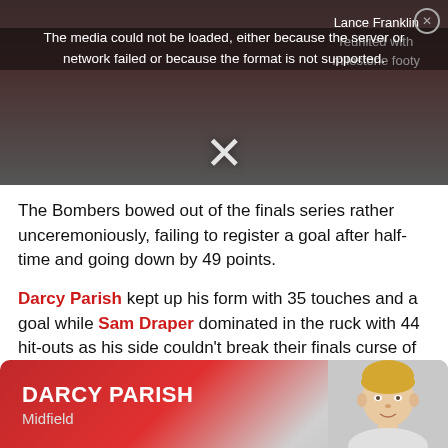[Figure (screenshot): Video player screenshot showing an Australian rules football scene with a media error overlay message and side text about Lance Franklin reunited with milestone footy. An X close button is visible.]
The Bombers bowed out of the finals series rather unceremoniously, failing to register a goal after half-time and going down by 49 points.
Darcy Parish kept up his form with 35 touches and a goal while Sam Draper dominated in the ruck with 44 hit-outs as his side couldn't break their finals curse of 6000+ days without a win in September.
[Figure (infographic): Player card for Darcy Parish, Midfield, with red gradient background and player photo on the right.]